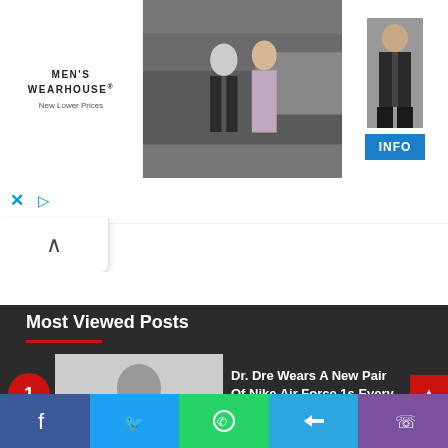[Figure (screenshot): Men's Wearhouse advertisement banner showing a couple in formalwear, a man in a suit, and an INFO button]
[Figure (screenshot): Ad controls row with X close button and play button icon]
[Figure (screenshot): Collapse/hide ad button with upward chevron arrow]
Most Viewed Posts
Dr. Dre Wears A New Pair Of Nike Air Force 1s Every Day